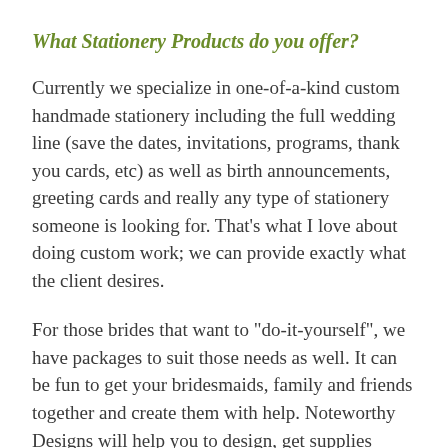What Stationery Products do you offer?
Currently we specialize in one-of-a-kind custom handmade stationery including the full wedding line (save the dates, invitations, programs, thank you cards, etc) as well as birth announcements, greeting cards and really any type of stationery someone is looking for. That's what I love about doing custom work; we can provide exactly what the client desires.
For those brides that want to "do-it-yourself", we have packages to suit those needs as well. It can be fun to get your bridesmaids, family and friends together and create them with help. Noteworthy Designs will help you to design, get supplies and/or